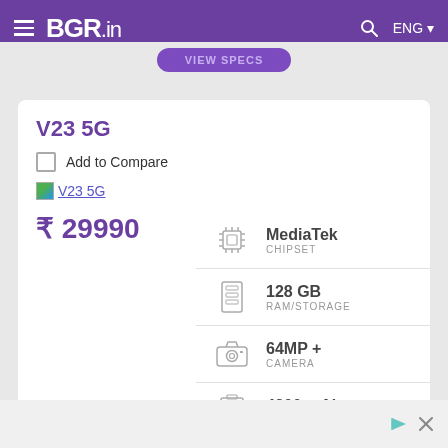BGR.in — ENG
VIEW SPECS
V23 5G
Add to Compare
[Figure (photo): V23 5G phone image placeholder]
₹ 29990
MediaTek — CHIPSET
128 GB — RAM/STORAGE
64MP + — CAMERA
4200 mAh — BATTERY